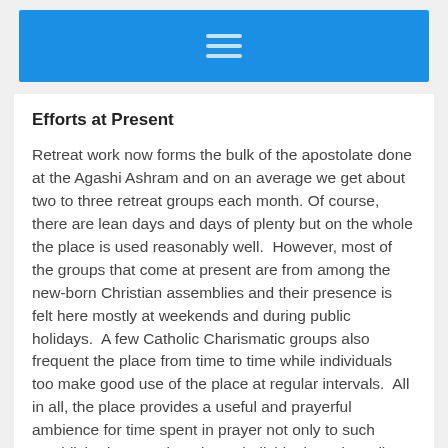[hamburger menu icon]
Efforts at Present
Retreat work now forms the bulk of the apostolate done at the Agashi Ashram and on an average we get about two to three retreat groups each month. Of course, there are lean days and days of plenty but on the whole the place is used reasonably well.  However, most of the groups that come at present are from among the new-born Christian assemblies and their presence is felt here mostly at weekends and during public holidays.  A few Catholic Charismatic groups also frequent the place from time to time while individuals too make good use of the place at regular intervals.  All in all, the place provides a useful and prayerful ambience for time spent in prayer not only to such established groups but also to individuals and smaller gatherings on a personal basis.  Spiritual guidance and the Sacrament of Reconciliation is